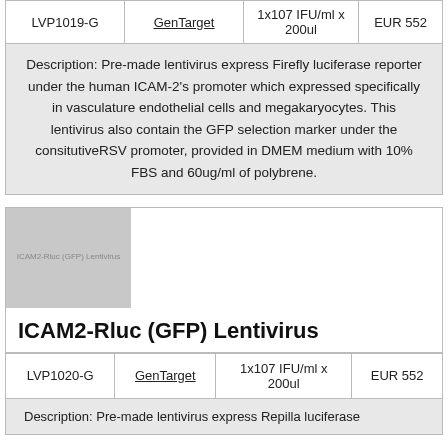|  |  |  |  |
| --- | --- | --- | --- |
| LVP1019-G | GenTarget | 1x107 IFU/ml x 200ul | EUR 552 |
Description: Pre-made lentivirus express Firefly luciferase reporter under the human ICAM-2's promoter which expressed specifically in vasculature endothelial cells and megakaryocytes. This lentivirus also contain the GFP selection marker under the consitutiveRSV promoter, provided in DMEM medium with 10% FBS and 60ug/ml of polybrene.
[Figure (photo): Product image placeholder for ICAM2-Rluc (GFP) Lentivirus, gray box with text label]
ICAM2-Rluc (GFP) Lentivirus
|  |  |  |  |
| --- | --- | --- | --- |
| LVP1020-G | GenTarget | 1x107 IFU/ml x 200ul | EUR 552 |
Description: Pre-made lentivirus express Repilla luciferase